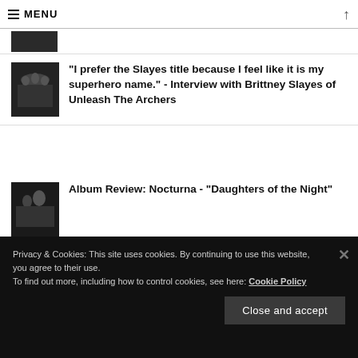MENU
"I prefer the Slayes title because I feel like it is my superhero name." - Interview with Brittney Slayes of Unleash The Archers
Album Review: Nocturna - "Daughters of the Night"
Sanne Mieloo parted ways with Nemesea
Privacy & Cookies: This site uses cookies. By continuing to use this website, you agree to their use.
To find out more, including how to control cookies, see here: Cookie Policy
Close and accept